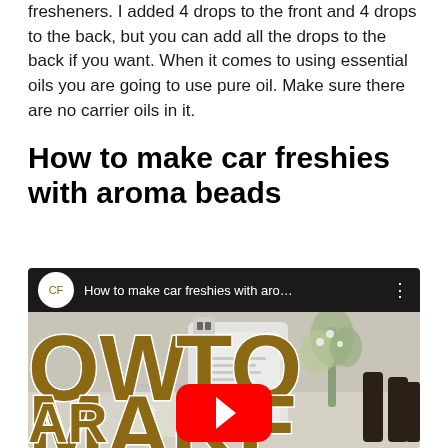fresheners. I added 4 drops to the front and 4 drops to the back, but you can add all the drops to the back if you want. When it comes to using essential oils you are going to use pure oil. Make sure there are no carrier oils in it.
How to make car freshies with aroma beads
[Figure (screenshot): YouTube video embed showing 'How to make car freshies with aro...' with a thumbnail featuring large brown text 'HOW TO MAKE CAR' overlaid on an image of mason jars, aroma beads, a bag of beads, green plant, and dark bottles on a counter. A red YouTube play button is centered on the thumbnail.]